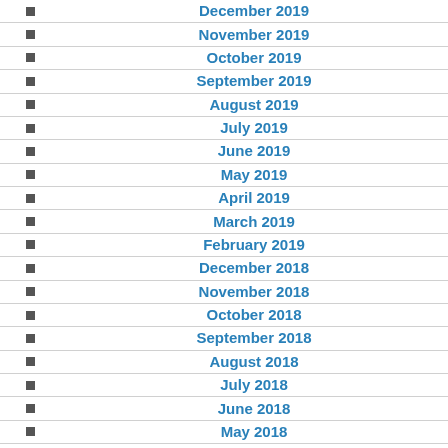December 2019
November 2019
October 2019
September 2019
August 2019
July 2019
June 2019
May 2019
April 2019
March 2019
February 2019
December 2018
November 2018
October 2018
September 2018
August 2018
July 2018
June 2018
May 2018
April 2018